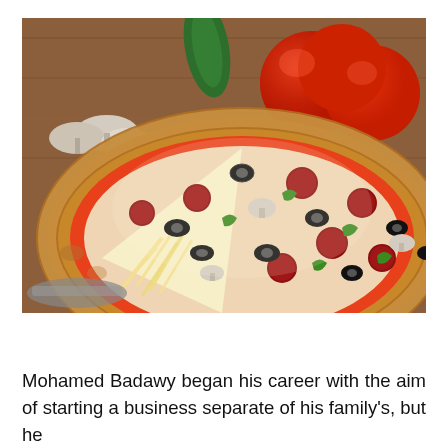[Figure (photo): A close-up photograph of a large pizza with a slice being lifted, showing melted cheese strands. Toppings include pepperoni, black olives, green peppers, and mushrooms. In the background are fresh tomatoes, mushrooms, and a green bell pepper on a wooden surface.]
Mohamed Badawy began his career with the aim of starting a business separate of his family's, but he